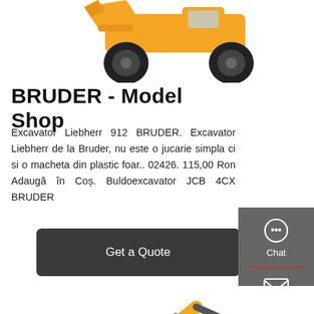[Figure (photo): Yellow construction loader/truck toy at top of page, partially cropped]
BRUDER - Model Shop
Excavator Liebherr 912 BRUDER. Excavator Liebherr de la Bruder, nu este o jucarie simpla ci si o macheta din plastic foar.. 02426. 115,00 Ron Adaugă în Coș. Buldoexcavator JCB 4CX BRUDER
[Figure (screenshot): Side panel with Chat, Email, and Contact buttons on dark grey background]
Get a Quote
[Figure (photo): Yellow LiuGong excavator toy model, partially visible at bottom of page]